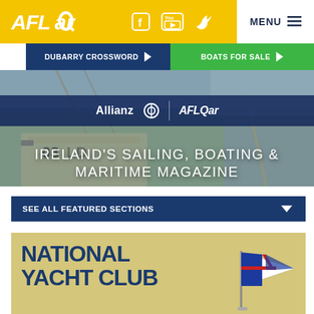[Figure (screenshot): Afloat.ie website header with yellow background, white Afloat logo, social media icons (Facebook, YouTube, Twitter), and white MENU button with hamburger lines]
[Figure (screenshot): Navigation buttons row: dark blue DUBARRY CROSSWORD button with right arrow, green BOATS FOR SALE button with right arrow]
[Figure (photo): Hero image of boat deck/rigging with blue-grey water background, dark navy Allianz | Afloat sponsor banner overlay, and white text tagline IRELAND'S SAILING, BOATING & MARITIME MAGAZINE]
IRELAND'S SAILING, BOATING & MARITIME MAGAZINE
SEE ALL FEATURED SECTIONS
[Figure (illustration): National Yacht Club promotional card with sandy/golden yellow background, large dark blue text NATIONAL YACHT CLUB, and a pennant/burgee flag graphic on the right side]